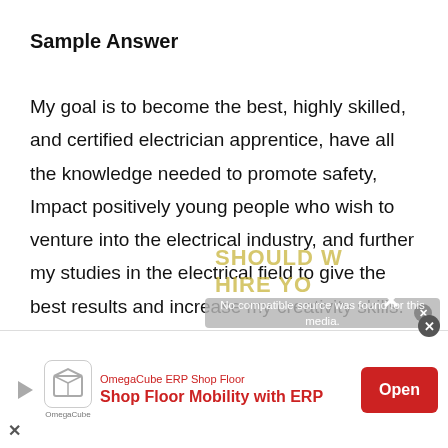Sample Answer
My goal is to become the best, highly skilled, and certified electrician apprentice, have all the knowledge needed to promote safety, Impact positively young people who wish to venture into the electrical industry, and further my studies in the electrical field to give the best results and increase my creativity skills.
[Figure (screenshot): Video player overlay showing 'No compatible source was found for this media.' with background text 'SHOULD WE HIRE YOU?' partially visible and a close button.]
[Figure (screenshot): Advertisement banner for OmegaCube ERP Shop Floor with text 'Shop Floor Mobility with ERP' and an 'Open' button.]